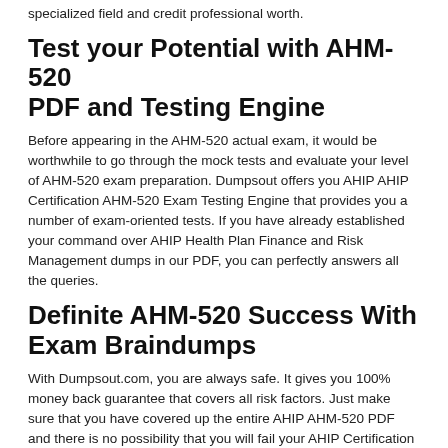specialized field and credit professional worth.
Test your Potential with AHM-520 PDF and Testing Engine
Before appearing in the AHM-520 actual exam, it would be worthwhile to go through the mock tests and evaluate your level of AHM-520 exam preparation. Dumpsout offers you AHIP AHIP Certification AHM-520 Exam Testing Engine that provides you a number of exam-oriented tests. If you have already established your command over AHIP Health Plan Finance and Risk Management dumps in our PDF, you can perfectly answers all the queries.
Definite AHM-520 Success With Exam Braindumps
With Dumpsout.com, you are always safe. It gives you 100% money back guarantee that covers all risk factors. Just make sure that you have covered up the entire AHIP AHM-520 PDF and there is no possibility that you will fail your AHIP Certification exam. Dumpsout is ready to refund your money instantly and without any deduction whatsoever.